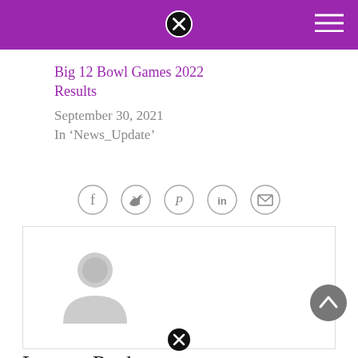Big 12 Bowl Games 2022 Results
September 30, 2021
In 'News_Update'
[Figure (infographic): Row of 5 social sharing icons in circles: Facebook, Twitter, Pinterest, LinkedIn, Email]
[Figure (illustration): Comment/author placeholder avatar - grey silhouette of a person inside a rounded rectangle border]
Leave a Reply
Your email address will not be published. Required fields are marked *